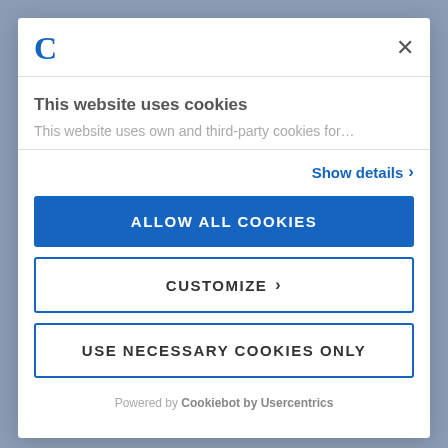[Figure (screenshot): Background photo showing a person in a blue/grey shirt, partially visible behind a cookie consent modal dialog.]
C
This website uses cookies
This website uses own and third-party cookies for…
Show details ›
ALLOW ALL COOKIES
CUSTOMIZE ›
USE NECESSARY COOKIES ONLY
Powered by Cookiebot by Usercentrics